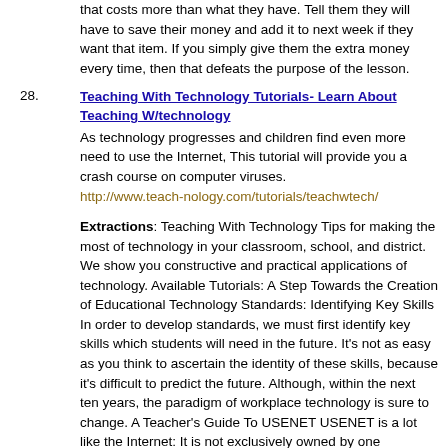that costs more than what they have. Tell them they will have to save their money and add it to next week if they want that item. If you simply give them the extra money every time, then that defeats the purpose of the lesson.
28. Teaching With Technology Tutorials- Learn About Teaching W/technology
As technology progresses and children find even more need to use the Internet, This tutorial will provide you a crash course on computer viruses.
http://www.teach-nology.com/tutorials/teachwtech/

Extractions: Teaching With Technology Tips for making the most of technology in your classroom, school, and district. We show you constructive and practical applications of technology. Available Tutorials: A Step Towards the Creation of Educational Technology Standards: Identifying Key Skills In order to develop standards, we must first identify key skills which students will need in the future. It's not as easy as you think to ascertain the identity of these skills, because it's difficult to predict the future. Although, within the next ten years, the paradigm of workplace technology is sure to change. A Teacher's Guide To USENET USENET is a lot like the Internet: It is not exclusively owned by one